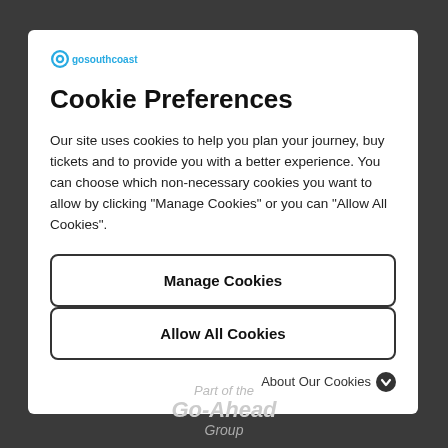[Figure (logo): Go Southcoast logo — small circular blue icon with 'gosouthcoast' text in blue]
Cookie Preferences
Our site uses cookies to help you plan your journey, buy tickets and to provide you with a better experience. You can choose which non-necessary cookies you want to allow by clicking "Manage Cookies" or you can "Allow All Cookies".
Manage Cookies
Allow All Cookies
About Our Cookies
Part of the Go-Ahead Group